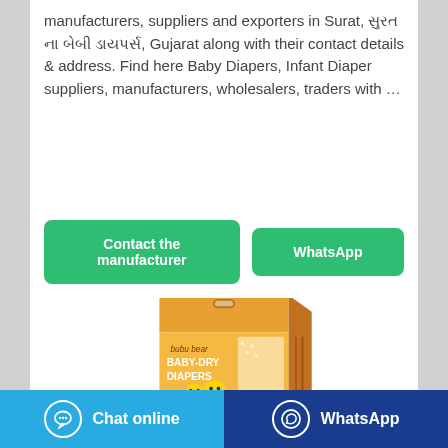manufacturers, suppliers and exporters in Surat, સુરત ના બેબી ડાયપર્સ, Gujarat along with their contact details & address. Find here Baby Diapers, Infant Diaper suppliers, manufacturers, wholesalers, traders with …
[Figure (screenshot): Two green rounded buttons: 'Contact the manufacturer' and 'WhatsApp']
[Figure (photo): Product box of Bubu Bear Baby-Dry Diapers, orange packaging]
[Figure (screenshot): Footer bar with blue 'Chat online' button and dark blue 'WhatsApp' button]